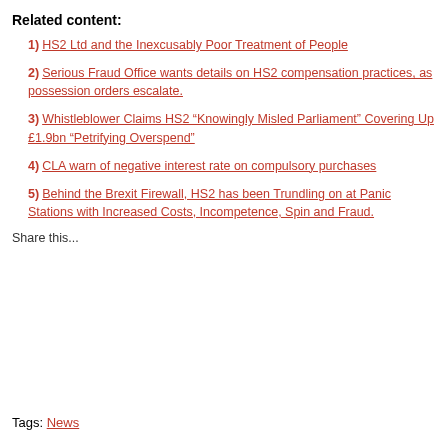Related content:
1) HS2 Ltd and the Inexcusably Poor Treatment of People
2) Serious Fraud Office wants details on HS2 compensation practices, as possession orders escalate.
3) Whistleblower Claims HS2 “Knowingly Misled Parliament” Covering Up £1.9bn “Petrifying Overspend”
4) CLA warn of negative interest rate on compulsory purchases
5) Behind the Brexit Firewall, HS2 has been Trundling on at Panic Stations with Increased Costs, Incompetence, Spin and Fraud.
Share this...
Tags: News